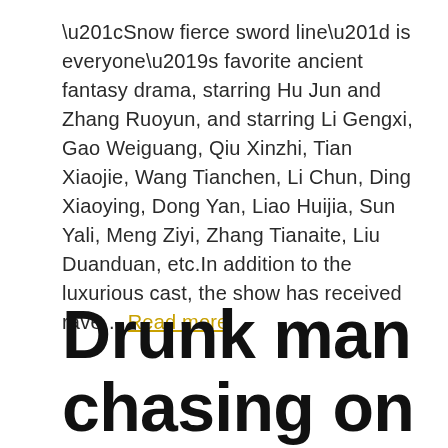“Snow fierce sword line” is everyone’s favorite ancient fantasy drama, starring Hu Jun and Zhang Ruoyun, and starring Li Gengxi, Gao Weiguang, Qiu Xinzhi, Tian Xiaojie, Wang Tianchen, Li Chun, Ding Xiaoying, Dong Yan, Liao Huijia, Sun Yali, Meng Ziyi, Zhang Tianaite, Liu Duanduan, etc.In addition to the luxurious cast, the show has received rave… Read more
Drunk man chasing on behalf of the